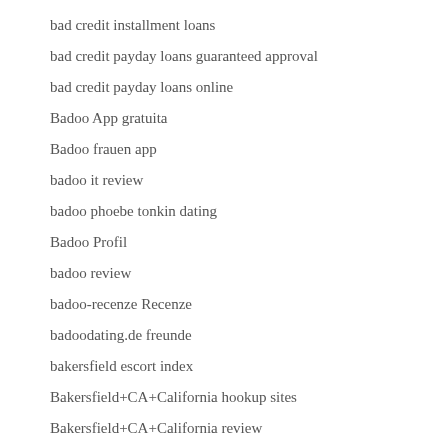bad credit installment loans
bad credit payday loans guaranteed approval
bad credit payday loans online
Badoo App gratuita
Badoo frauen app
badoo it review
badoo phoebe tonkin dating
Badoo Profil
badoo review
badoo-recenze Recenze
badoodating.de freunde
bakersfield escort index
Bakersfield+CA+California hookup sites
Bakersfield+CA+California review
Banamex review